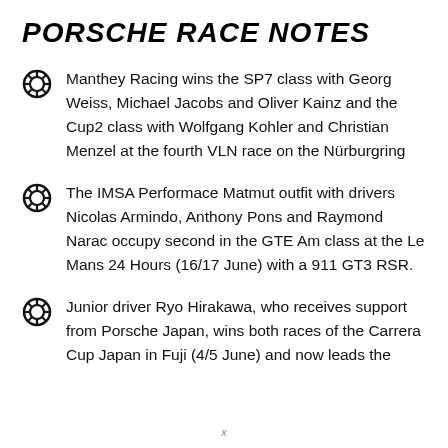PORSCHE RACE NOTES
Manthey Racing wins the SP7 class with Georg Weiss, Michael Jacobs and Oliver Kainz and the Cup2 class with Wolfgang Kohler and Christian Menzel at the fourth VLN race on the Nürburgring
The IMSA Performace Matmut outfit with drivers Nicolas Armindo, Anthony Pons and Raymond Narac occupy second in the GTE Am class at the Le Mans 24 Hours (16/17 June) with a 911 GT3 RSR.
Junior driver Ryo Hirakawa, who receives support from Porsche Japan, wins both races of the Carrera Cup Japan in Fuji (4/5 June) and now leads the
x